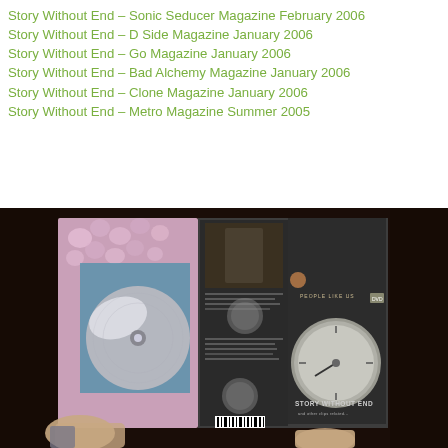Story Without End – Sonic Seducer Magazine February 2006
Story Without End – D Side Magazine January 2006
Story Without End – Go Magazine January 2006
Story Without End – Bad Alchemy Magazine January 2006
Story Without End – Clone Magazine January 2006
Story Without End – Metro Magazine Summer 2005
[Figure (photo): A person holding open a DVD booklet for 'Story Without End', showing the disc on the left side and the back cover/interior panels with text, images, and a barcode on the right, against a dark background.]